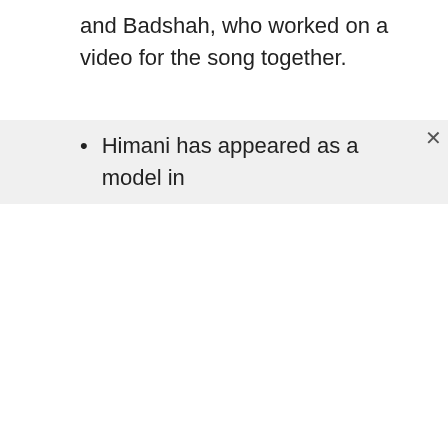and Badshah, who worked on a video for the song together.
Himani has appeared as a model in